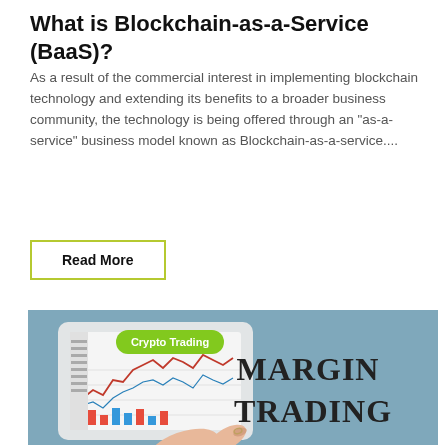What is Blockchain-as-a-Service (BaaS)?
As a result of the commercial interest in implementing blockchain technology and extending its benefits to a broader business community, the technology is being offered through an "as-a-service" business model known as Blockchain-as-a-service....
Read More
[Figure (illustration): Promotional image for Margin Trading article showing hands holding a tablet with a crypto trading chart, green 'Crypto Trading' label badge, and large text 'MARGIN TRADING' on a light blue background.]